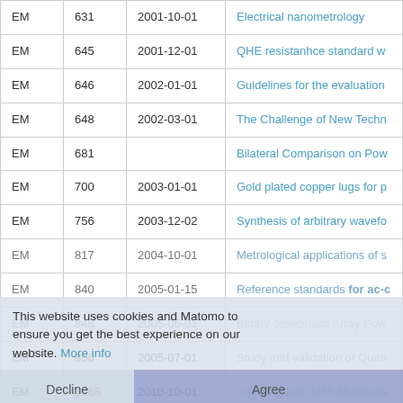|  |  |  |  |
| --- | --- | --- | --- |
| EM | 631 | 2001-10-01 | Electrical nanometrology |
| EM | 645 | 2001-12-01 | QHE resistanhce standard w... |
| EM | 646 | 2002-01-01 | Guidelines for the evaluation... |
| EM | 648 | 2002-03-01 | The Challenge of New Techn... |
| EM | 681 |  | Bilateral Comparison on Pow... |
| EM | 700 | 2003-01-01 | Gold plated copper lugs for p... |
| EM | 756 | 2003-12-02 | Synthesis of arbitrary wavefo... |
| EM | 817 | 2004-10-01 | Metrological applications of s... |
| EM | 840 | 2005-01-15 | Reference standards for ac-c... |
| EM | 848 | 2005-06-01 | Binary Josephson Array Pow... |
| EM | 856 | 2005-07-01 | Study and validation of Quan... |
| EM | 1168 | 2010-10-01 | Using Agilent 3458 Multimete... |
This website uses cookies and Matomo to ensure you get the best experience on our website. More info